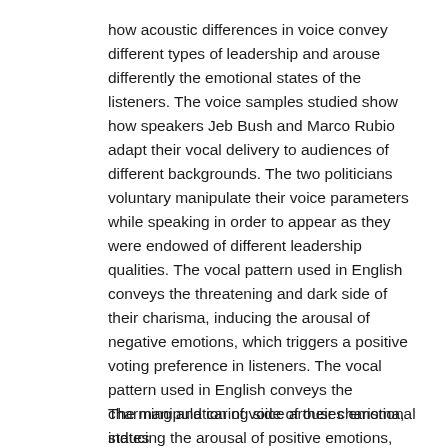how acoustic differences in voice convey different types of leadership and arouse differently the emotional states of the listeners. The voice samples studied show how speakers Jeb Bush and Marco Rubio adapt their vocal delivery to audiences of different backgrounds. The two politicians voluntary manipulate their voice parameters while speaking in order to appear as they were endowed of different leadership qualities. The vocal pattern used in English conveys the threatening and dark side of their charisma, inducing the arousal of negative emotions, which triggers a positive voting preference in listeners. The vocal pattern used in English conveys the charming and caring side of their charisma, inducing the arousal of positive emotions, which triggers a negative voting preference in listeners.
The manipulation of voice arouses emotional states